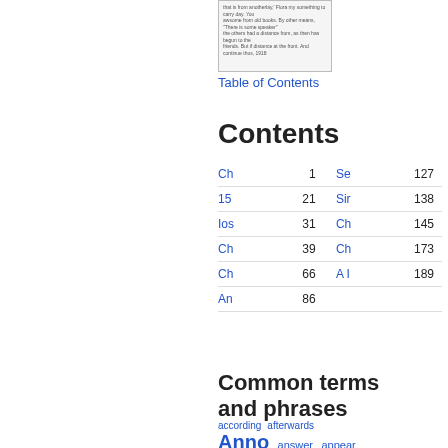[Figure (other): Thumbnail image of a book page with small text]
Table of Contents
Contents
| Entry | Page |  | Entry | Page |
| --- | --- | --- | --- | --- |
| Ch | 1 |  | Se | 127 |
| 15 | 21 |  | Sir | 138 |
| Ios | 31 |  | Ch | 145 |
| Ch | 39 |  | Ch | 173 |
| Ch | 66 |  | A I | 189 |
| An | 86 |  |  |  |
Common terms and phrases
according   afterwards
Anno   answer   appear